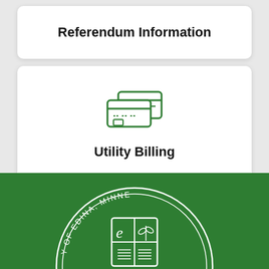Referendum Information
[Figure (illustration): Green credit card icon]
Utility Billing
[Figure (logo): City of Edina, Minnesota official seal on green background]